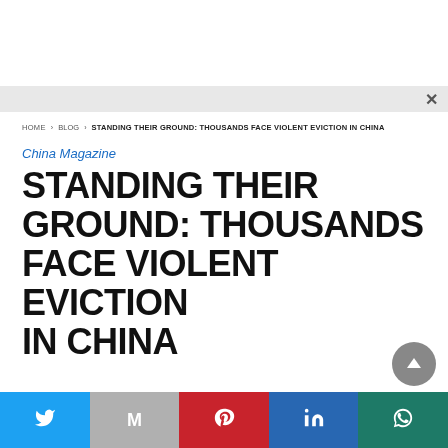HOME > BLOG > STANDING THEIR GROUND: THOUSANDS FACE VIOLENT EVICTION IN CHINA
China Magazine
STANDING THEIR GROUND: THOUSANDS FACE VIOLENT EVICTION IN CHINA